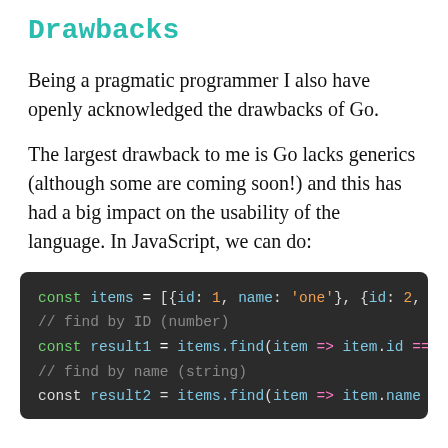Drawbacks
Being a pragmatic programmer I also have openly acknowledged the drawbacks of Go.
The largest drawback to me is Go lacks generics (although some are coming soon!) and this has had a big impact on the usability of the language. In JavaScript, we can do:
[Figure (screenshot): Code block on dark background showing JavaScript code: const items = [{id: 1, name: 'one'}, {id: 2, nam... // find by ID (number) const result1 = items.find(item => item.id === 1... // find by name (string) const result2 = items.find(item => item.name...]